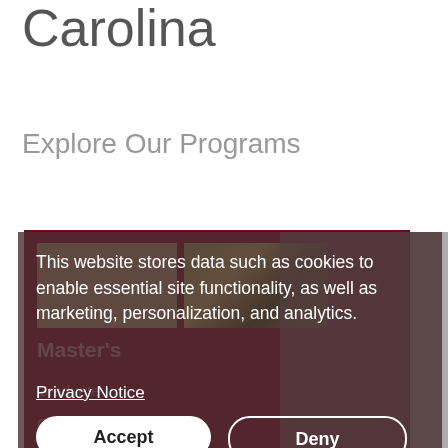Carolina
Explore Our Programs
[Figure (screenshot): University website showing program cards with dark red/maroon background, including photos of campus scenes, with text labels Master's, Graduate, Certificates]
This website stores data such as cookies to enable essential site functionality, as well as marketing, personalization, and analytics.
Privacy Notice
Accept
Deny